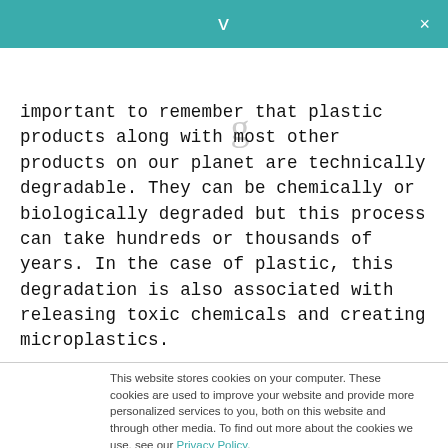v  ×
[Figure (logo): Partial logo graphic in light gray at top of page]
important to remember that plastic products along with most other products on our planet are technically degradable. They can be chemically or biologically degraded but this process can take hundreds or thousands of years. In the case of plastic, this degradation is also associated with releasing toxic chemicals and creating microplastics.
This website stores cookies on your computer. These cookies are used to improve your website and provide more personalized services to you, both on this website and through other media. To find out more about the cookies we use, see our Privacy Policy.